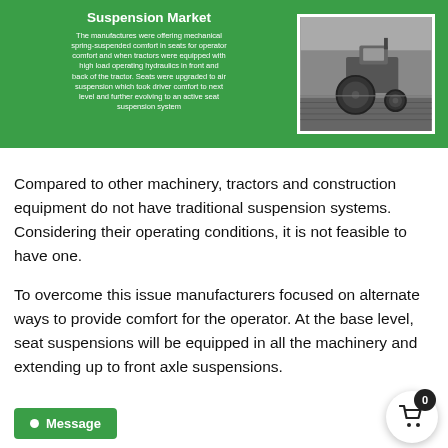[Figure (infographic): Green banner with title 'Suspension Market', descriptive text about mechanical spring-suspended seats and air suspension, and a black-and-white photo of a tractor in a field.]
Compared to other machinery, tractors and construction equipment do not have traditional suspension systems. Considering their operating conditions, it is not feasible to have one.
To overcome this issue manufacturers focused on alternate ways to provide comfort for the operator. At the base level, seat suspensions will be equipped in all the machinery and extending up to front axle suspensions.
[Figure (other): Green 'Message' button with chat bubble dot icon]
[Figure (other): Shopping cart button with badge showing 0]